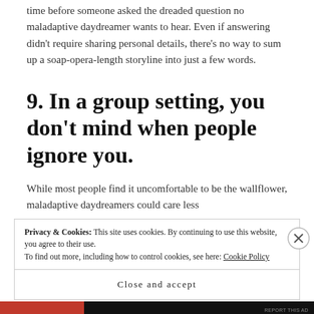time before someone asked the dreaded question no maladaptive daydreamer wants to hear. Even if answering didn't require sharing personal details, there's no way to sum up a soap-opera-length storyline into just a few words.
9. In a group setting, you don't mind when people ignore you.
While most people find it uncomfortable to be the wallflower, maladaptive daydreamers could care less
Privacy & Cookies: This site uses cookies. By continuing to use this website, you agree to their use.
To find out more, including how to control cookies, see here: Cookie Policy
Close and accept